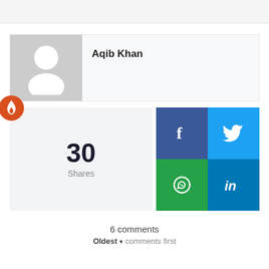[Figure (illustration): Gray placeholder avatar with white silhouette of a person (head and shoulders) on gray background]
Aqib Khan
[Figure (infographic): Shares count widget showing 30 Shares with a red flame/fire icon, and four social share buttons: Facebook (blue), Twitter (light blue), WhatsApp (green), LinkedIn (dark blue)]
30
Shares
6 comments
Oldest ▾  comments first